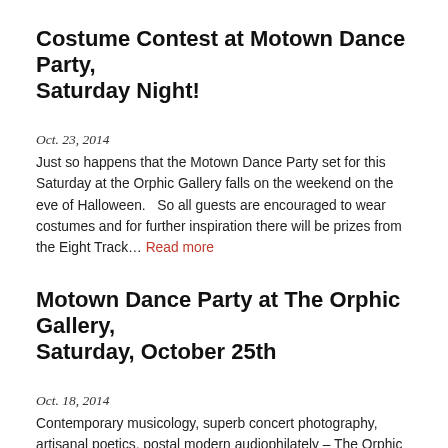Costume Contest at Motown Dance Party, Saturday Night!
Oct. 23, 2014
Just so happens that the Motown Dance Party set for this Saturday at the Orphic Gallery falls on the weekend on the eve of Halloween.   So all guests are encouraged to wear costumes and for further inspiration there will be prizes from the Eight Track… Read more
Motown Dance Party at The Orphic Gallery, Saturday, October 25th
Oct. 18, 2014
Contemporary musicology, superb concert photography, artisanal poetics, postal modern audiophilately – The Orphic Gallery has seen a flurry of cultural endeavors this autumn. All